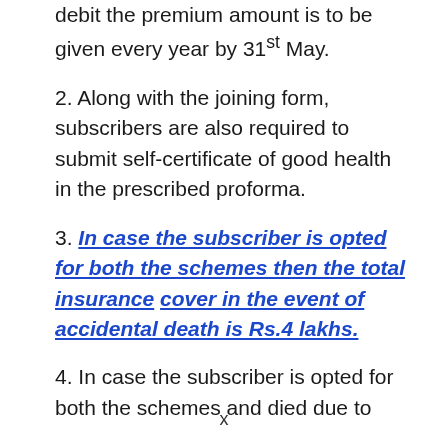debit the premium amount is to be given every year by 31st May.
2. Along with the joining form, subscribers are also required to submit self-certificate of good health in the prescribed proforma.
3. In case the subscriber is opted for both the schemes then the total insurance cover in the event of accidental death is Rs.4 lakhs.
4. In case the subscriber is opted for both the schemes and died due to
x